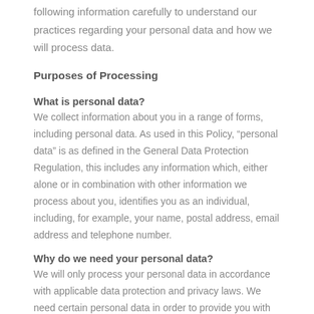following information carefully to understand our practices regarding your personal data and how we will process data.
Purposes of Processing
What is personal data?
We collect information about you in a range of forms, including personal data. As used in this Policy, “personal data” is as defined in the General Data Protection Regulation, this includes any information which, either alone or in combination with other information we process about you, identifies you as an individual, including, for example, your name, postal address, email address and telephone number.
Why do we need your personal data?
We will only process your personal data in accordance with applicable data protection and privacy laws. We need certain personal data in order to provide you with access to the website. If you registered with us, you will have been asked to